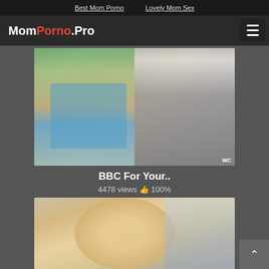Best Mom Porno   Lovely Mom Sex
MomPorno.Pro
[Figure (photo): Video thumbnail showing two people, one wrapped in a blue towel near a shower, the other standing in white shirt and grey shorts. Watermark 'WC' in bottom right.]
BBC For Your..
4478 views 👍 100%
[Figure (photo): Video thumbnail showing a close-up of a blonde woman's face, looking down, with a blurred background.]